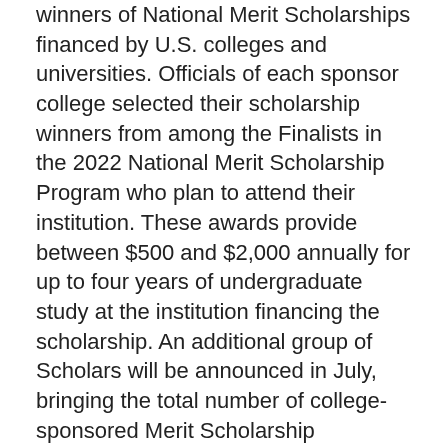winners of National Merit Scholarships financed by U.S. colleges and universities. Officials of each sponsor college selected their scholarship winners from among the Finalists in the 2022 National Merit Scholarship Program who plan to attend their institution. These awards provide between $500 and $2,000 annually for up to four years of undergraduate study at the institution financing the scholarship. An additional group of Scholars will be announced in July, bringing the total number of college-sponsored Merit Scholarship recipients in the 2022 competition to about 4,000.
This year, 155 higher education institutions are underwriting Merit Scholarship awards through the National Merit Scholarship Program. Sponsor colleges and universities include 82 private and 73 public institutions located in 42 states and the District of Columbia.
College-sponsored Merit Scholarship winners announced today are a part of the distinguished